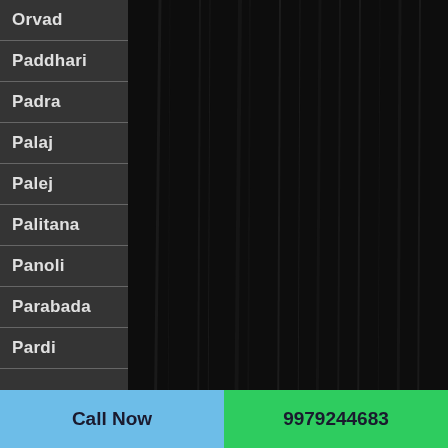Orvad
Paddhari
Padra
Palaj
Palej
Palitana
Panoli
Parabada
Pardi
Call Now
9979244683